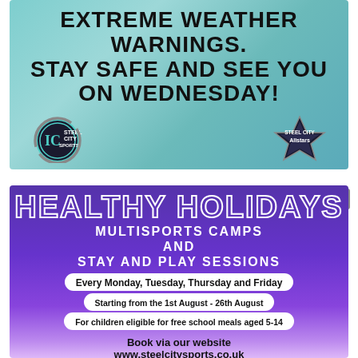[Figure (infographic): Top banner with teal/turquoise swirl background. Bold black text reads: EXTREME WEATHER WARNINGS. STAY SAFE AND SEE YOU ON WEDNESDAY! Steel City Ice Sports logo on bottom left, Steel City Allstars logo on bottom right.]
[Figure (infographic): Purple gradient banner for Healthy Holidays. Title 'HEALTHY HOLIDAYS' in outlined white letters. Text: MULTISPORTS CAMPS AND STAY AND PLAY SESSIONS. White pill badges: 'Every Monday, Tuesday, Thursday and Friday', 'Starting from the 1st August - 26th August', 'For children eligible for free school meals aged 5-14'. Book via our website www.steelcitysports.co.uk]